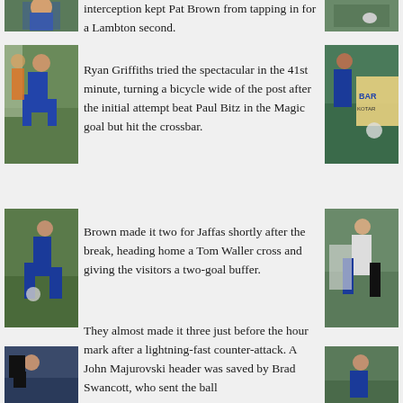[Figure (photo): Soccer player photo top left, partial view]
[Figure (photo): Soccer player in blue kit running with ball, left column]
[Figure (photo): Soccer player in blue kit kicking, left column lower]
[Figure (photo): Person sitting watching game, left column bottom]
interception kept Pat Brown from tapping in for a Lambton second.
Ryan Griffiths tried the spectacular in the 41st minute, turning a bicycle wide of the post after the initial attempt beat Paul Bitz in the Magic goal but hit the crossbar.
Brown made it two for Jaffas shortly after the break, heading home a Tom Waller cross and giving the visitors a two-goal buffer.
They almost made it three just before the hour mark after a lightning-fast counter-attack. A John Majurovski header was saved by Brad Swancott, who sent the ball
[Figure (photo): Soccer action photo top right partial]
[Figure (photo): Soccer player with BAR sign behind, right column upper]
[Figure (photo): Young soccer player running, right column lower]
[Figure (photo): Soccer action photo bottom right]